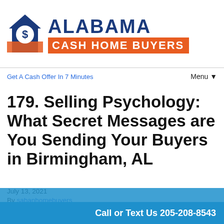[Figure (logo): Alabama Cash Home Buyers logo with house icon and dollar sign, blue and orange colors]
Get A Cash Offer In 7 Minutes
Menu ▼
179. Selling Psychology: What Secret Messages are You Sending Your Buyers in Birmingham, AL
July 13, 2021
By sabanhomebuyers
Call or Text Us 205-208-8543